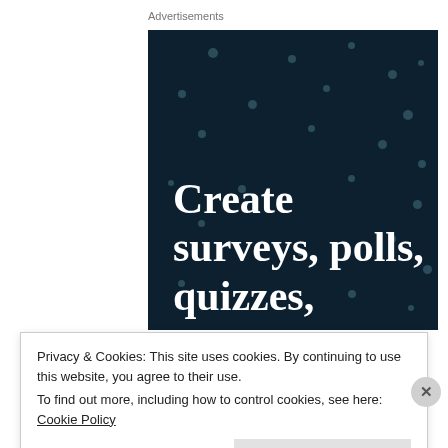Advertisements
[Figure (illustration): Dark navy blue advertisement banner with scattered teal dots pattern and large white serif bold text reading 'Create surveys, polls, quizzes,']
Privacy & Cookies: This site uses cookies. By continuing to use this website, you agree to their use.
To find out more, including how to control cookies, see here: Cookie Policy
Close and accept